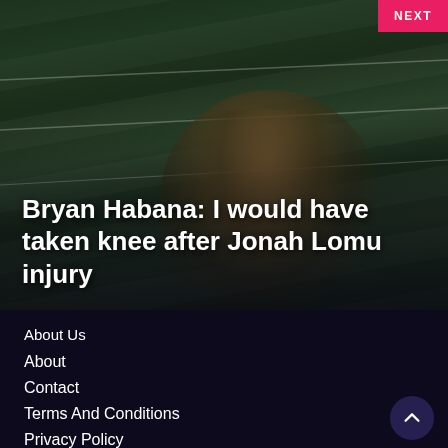[Figure (photo): Rugby player in a South Africa jersey crouching on a green field, with the article headline overlaid in white text. A pink 'NEXT' button is in the top-right corner.]
Bryan Habana: I would have taken knee after Jonah Lomu injury
About Us
About
Contact
Terms And Conditions
Privacy Policy
Disclaimer